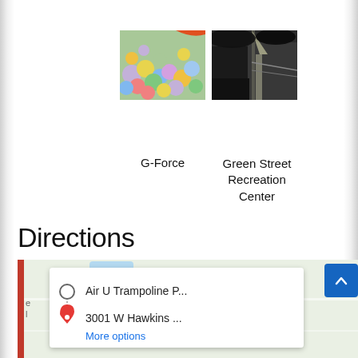[Figure (photo): Photo of colorful foam pit balls labeled G-Force]
G-Force
[Figure (photo): Dark outdoor photo of Green Street Recreation Center]
Green Street Recreation Center
Directions
[Figure (map): Google Maps screenshot showing directions to Air U Trampoline P... at 3001 W Hawkins ... with More options link and Judson label visible]